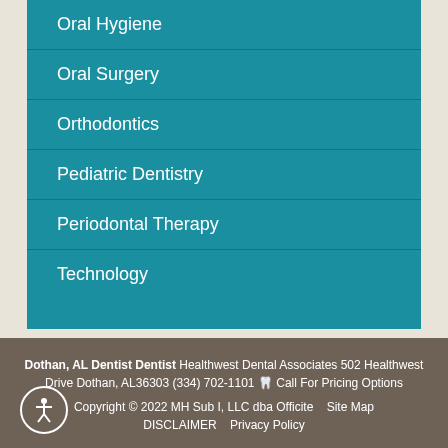Oral Hygiene
Oral Surgery
Orthodontics
Pediatric Dentistry
Periodontal Therapy
Technology
Dothan, AL Dentist Dentist Healthwest Dental Associates 502 Healthwest Drive Dothan, AL36303 (334) 702-1101 🦷 Call For Pricing Options
Copyright © 2022 MH Sub I, LLC dba Officite   Site Map   DISCLAIMER   Privacy Policy